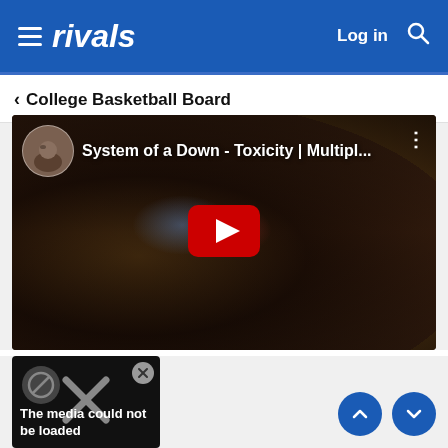rivals — Log in [search icon]
< College Basketball Board
[Figure (screenshot): YouTube video thumbnail showing a crowd at a concert. Title reads: System of a Down - Toxicity | Multipl... with a user avatar on the left, three-dot menu on right, and red YouTube play button in center.]
[Figure (screenshot): Small media card with black background showing a no-entry icon and X close button with text: The media could not be loaded]
[Figure (other): Two blue circular scroll buttons with up and down arrows]